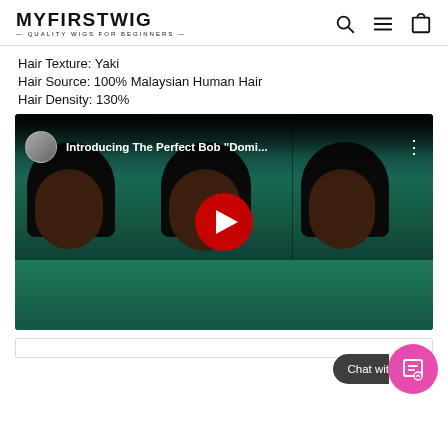MYFIRSTWIG — QUALITY WIGS FOR BEGINNERS —
Hair Texture: Yaki
Hair Source: 100% Malaysian Human Hair
Hair Density: 130%
[Figure (screenshot): YouTube video thumbnail showing a woman with a bob wig wearing a teal outfit. Title: Introducing The Perfect Bob "Domi..." with YouTube play button overlay.]
Chat wit